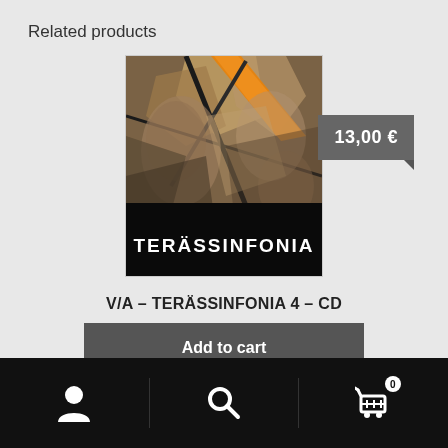Related products
[Figure (photo): Album cover for Terässinfonia 4 CD showing abstract expressionist artwork with orange diagonal shapes and faces, with 'TERÄSSINFONIA' text in white at bottom on black background]
13,00 €
V/A – TERÄSSINFONIA 4 – CD
Add to cart
[Figure (illustration): Mobile navigation footer bar with person/account icon, search icon, and shopping cart icon with badge showing 0]